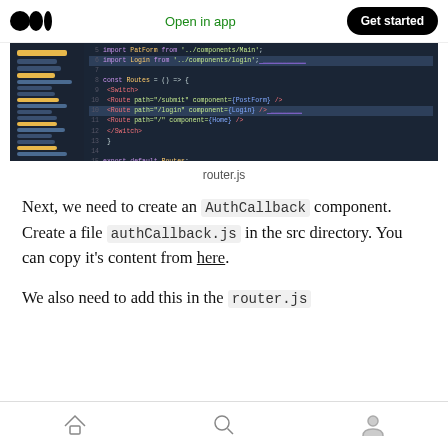Open in app | Get started
[Figure (screenshot): VS Code editor screenshot showing router.js file with React Router code including Switch, Route components with path='/submit', path='/login', path='/' routes and export default Routes]
router.js
Next, we need to create an AuthCallback component. Create a file authCallback.js in the src directory. You can copy it's content from here.
We also need to add this in the router.js